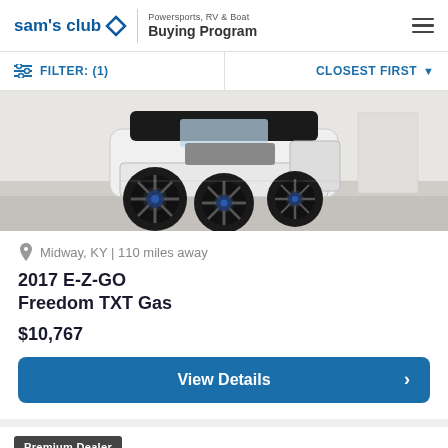sam's club | Powersports, RV & Boat Buying Program
FILTER: (1)   CLOSEST FIRST
[Figure (photo): Golf cart with large black wheels and white/silver body in a showroom setting]
Midway, KY | 110 miles away
2017 E-Z-GO Freedom TXT Gas
$10,767
View Details
Premium Dealer